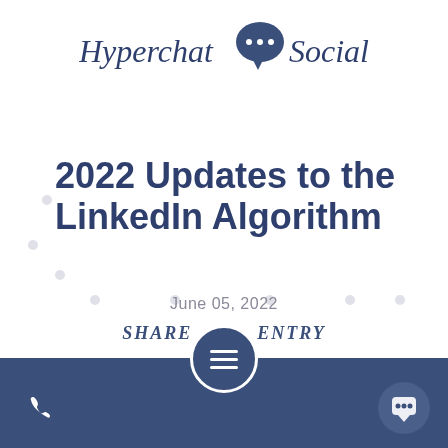[Figure (logo): Hyperchat Social logo with speech bubble icon in dark navy blue]
2022 Updates to the LinkedIn Algorithm
June 05, 2022
SHARE THIS ENTRY